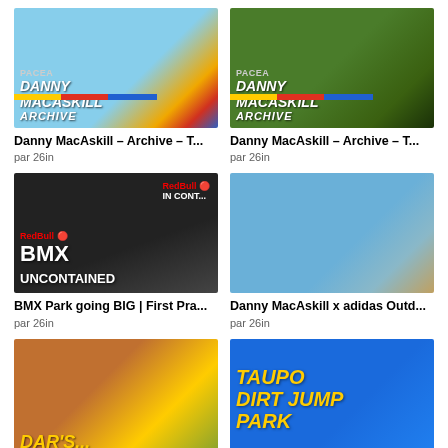[Figure (photo): Danny MacAskill BMX trick in air, Archive thumbnail with diagonal stripe, blue sky background]
Danny MacAskill – Archive – T...
par 26in
[Figure (photo): Danny MacAskill mountain biking on log in forest, Archive thumbnail with diagonal stripe]
Danny MacAskill – Archive – T...
par 26in
[Figure (photo): BMX Park going BIG | First Practice, Red Bull Uncontained indoor event thumbnail]
BMX Park going BIG | First Pra...
par 26in
[Figure (photo): Danny MacAskill x adidas Outdoors, rider jumping through wooden ring structure over water]
Danny MacAskill x adidas Outd...
par 26in
[Figure (photo): Pegs close-up with yellow and black handlebar peg, neon yellow jersey in background]
[Figure (photo): Taupo Dirt Jump Park text on blue background with rider silhouette]